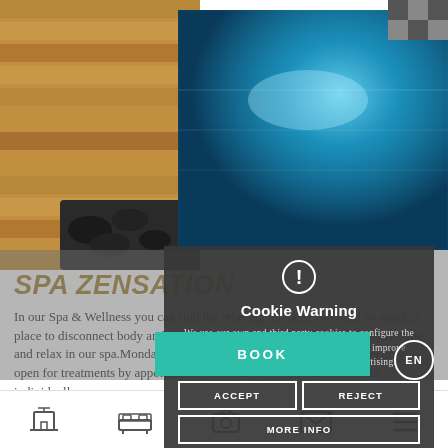[Figure (photo): Spa and wellness area showing wooden sauna benches on the left and a blue-lit pool/jacuzzi on the right with dark volcanic stones in the foreground.]
SPA ZENSATION
In our Spa & Wellness you can find the relaxing moment you need so much, a place to disconnect body and mind, and unwind. Escape from the daily routine and relax in our spa.Monday to Saturday from 10.00-18.00h (Sundays only open for treatments by appointment). You can enjoy all our treatments individually or as
[Figure (screenshot): Cookie Warning modal overlay with exclamation icon, title 'Cookie Warning', body text about cookie usage, and three buttons: ACCEPT, REJECT, MORE INFO]
Cookie Warning
We use our own and third party cookies to configure the website and its services, analyze activity to improve content and show you personalized advertising.
ACCEPT
REJECT
MORE INFO
BOOK
EN
Navigation icons: hotel, bed, camera, envelope, menu